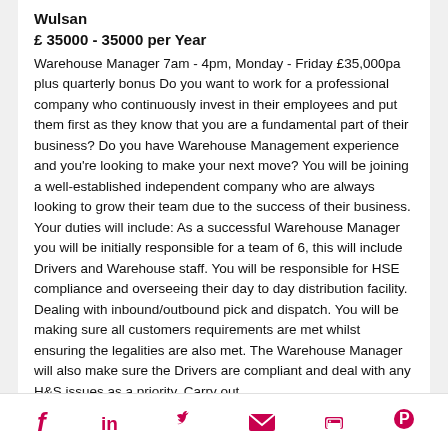Wulsan
£ 35000 - 35000 per Year
Warehouse Manager 7am - 4pm, Monday - Friday £35,000pa plus quarterly bonus Do you want to work for a professional company who continuously invest in their employees and put them first as they know that you are a fundamental part of their business? Do you have Warehouse Management experience and you're looking to make your next move? You will be joining a well-established independent company who are always looking to grow their team due to the success of their business. Your duties will include: As a successful Warehouse Manager you will be initially responsible for a team of 6, this will include Drivers and Warehouse staff. You will be responsible for HSE compliance and overseeing their day to day distribution facility. Dealing with inbound/outbound pick and dispatch. You will be making sure all customers requirements are met whilst ensuring the legalities are also met. The Warehouse Manager will also make sure the Drivers are compliant and deal with any H&S issues as a priority. Carry out
Social share icons: Facebook, LinkedIn, Twitter, Email, Print, Pinterest